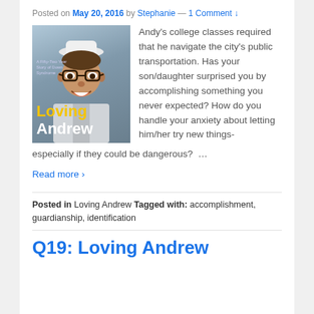Posted on May 20, 2016 by Stephanie — 1 Comment ↓
[Figure (photo): Book cover of 'Loving Andrew: A Fifty-Two Year Story of Down Syndrome' showing a smiling man wearing glasses and a chef's hat, with yellow and white title text.]
Andy's college classes required that he navigate the city's public transportation. Has your son/daughter surprised you by accomplishing something you never expected? How do you handle your anxiety about letting him/her try new things-especially if they could be dangerous?  …
Read more ›
Posted in Loving Andrew Tagged with: accomplishment, guardianship, identification
Q19: Loving Andrew